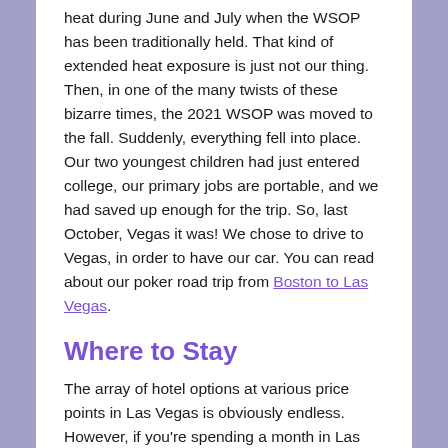heat during June and July when the WSOP has been traditionally held. That kind of extended heat exposure is just not our thing. Then, in one of the many twists of these bizarre times, the 2021 WSOP was moved to the fall. Suddenly, everything fell into place. Our two youngest children had just entered college, our primary jobs are portable, and we had saved up enough for the trip. So, last October, Vegas it was! We chose to drive to Vegas, in order to have our car. You can read about our poker road trip from Boston to Las Vegas.
Where to Stay
The array of hotel options at various price points in Las Vegas is obviously endless. However, if you're spending a month in Las